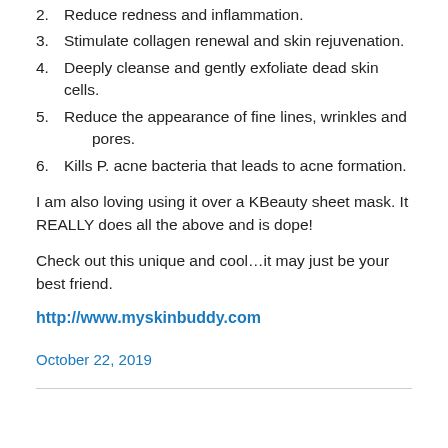2. Reduce redness and inflammation.
3. Stimulate collagen renewal and skin rejuvenation.
4. Deeply cleanse and gently exfoliate dead skin cells.
5. Reduce the appearance of fine lines, wrinkles and pores.
6. Kills P. acne bacteria that leads to acne formation.
I am also loving using it over a KBeauty sheet mask. It REALLY does all the above and is dope!
Check out this unique and cool…it may just be your best friend.
http://www.myskinbuddy.com
October 22, 2019